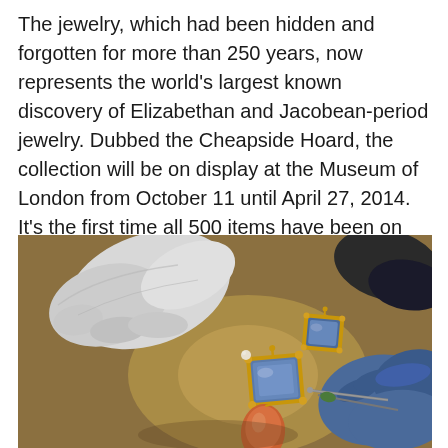The jewelry, which had been hidden and forgotten for more than 250 years, now represents the world's largest known discovery of Elizabethan and Jacobean-period jewelry. Dubbed the Cheapside Hoard, the collection will be on display at the Museum of London from October 11 until April 27, 2014. It's the first time all 500 items have been on exhibit in more than 100 years.
[Figure (photo): Close-up photograph of hands wearing white and blue gloves handling antique jewelry pieces including gold-framed blue gemstone pendants and an orange/pink gemstone, laid on a golden-brown textured surface.]